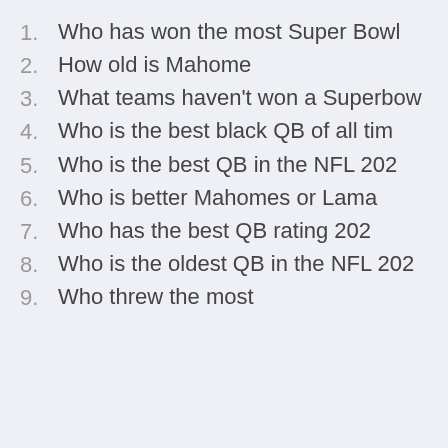1. Who has won the most Super Bowl
2. How old is Mahome
3. What teams haven't won a Superbow
4. Who is the best black QB of all tim
5. Who is the best QB in the NFL 202
6. Who is better Mahomes or Lama
7. Who has the best QB rating 202
8. Who is the oldest QB in the NFL 202
9. Who threw the most